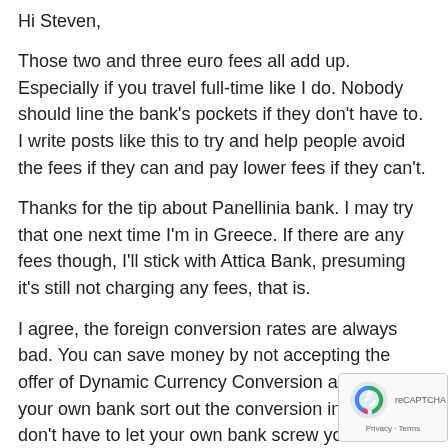Hi Steven,
Those two and three euro fees all add up. Especially if you travel full-time like I do. Nobody should line the bank's pockets if they don't have to. I write posts like this to try and help people avoid the fees if they can and pay lower fees if they can't.
Thanks for the tip about Panellinia bank. I may try that one next time I'm in Greece. If there are any fees though, I'll stick with Attica Bank, presuming it's still not charging any fees, that is.
I agree, the foreign conversion rates are always bad. You can save money by not accepting the offer of Dynamic Currency Conversion and letting your own bank sort out the conversion instead. You don't have to let your own bank screw you on the conversion rate either. As I mentioned the blog post, I use TransferWise instead. There are plenty of